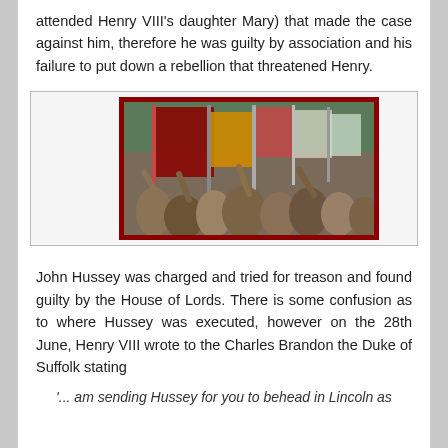attended Henry VIII's daughter Mary) that made the case against him, therefore he was guilty by association and his failure to put down a rebellion that threatened Henry.
[Figure (photo): A crowd of people in medieval costume holding banners and flags, depicting a rebellion scene. The image has a dark red border.]
John Hussey was charged and tried for treason and found guilty by the House of Lords. There is some confusion as to where Hussey was executed, however on the 28th June, Henry VIII wrote to the Charles Brandon the Duke of Suffolk stating
'... am sending Hussey for you to behead in Lincoln as